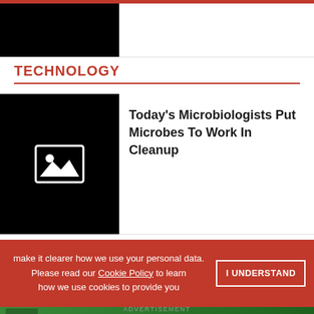[Figure (photo): Black image placeholder at top left]
TECHNOLOGY
[Figure (photo): Black image placeholder with image icon for article]
Today's Microbiologists Put Microbes To Work In Cleanup
make it clearer how we use your personal data. Please read our Cookie Policy to learn how we use cookies to provide you
I UNDERSTAND
[Figure (photo): OriGene advertisement: Special Offer — Primary Antibody Samples 30 ul for $99/€99 — Learn More]
ADVERTISEMENT